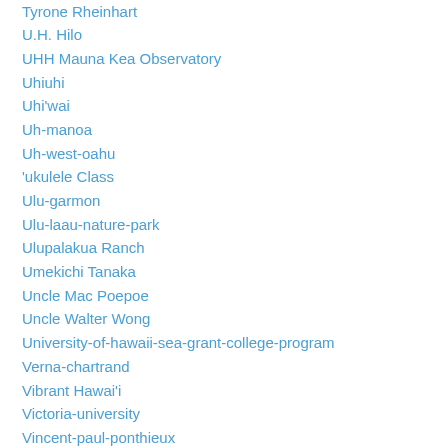Tyrone Rheinhart
U.H. Hilo
UHH Mauna Kea Observatory
Uhiuhi
Uhi'wai
Uh-manoa
Uh-west-oahu
'ukulele Class
Ulu-garmon
Ulu-laau-nature-park
Ulupalakua Ranch
Umekichi Tanaka
Uncle Mac Poepoe
Uncle Walter Wong
University-of-hawaii-sea-grant-college-program
Verna-chartrand
Vibrant Hawai'i
Victoria-university
Vincent-paul-ponthieux
Virginia-fortner
Volcano Art Center